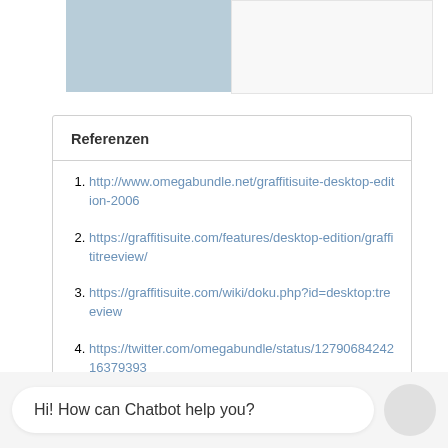[Figure (screenshot): Top portion of a webpage showing a blue-gray block and white block side by side, likely a header or navigation element]
Referenzen
http://www.omegabundle.net/graffitisuite-desktop-edition-2006
https://graffitisuite.com/features/desktop-edition/graffititreeview/
https://graffitisuite.com/wiki/doku.php?id=desktop:treeview
https://twitter.com/omegabundle/status/1279068424216379393
Hi! How can Chatbot help you?